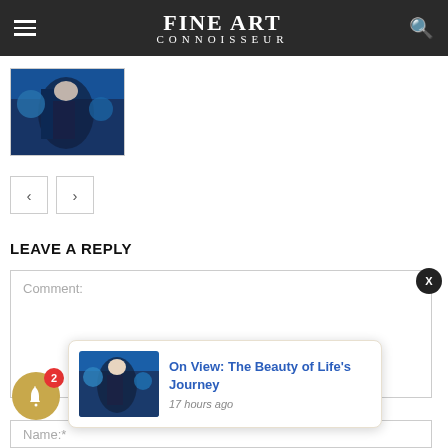FINE ART CONNOISSEUR
[Figure (photo): Thumbnail showing a painting with figures in blue, a woman in a dark dress prominent in the foreground]
< >
LEAVE A REPLY
Comment:
[Figure (photo): Popup notification card thumbnail showing a painting with figures in blue]
On View: The Beauty of Life's Journey
17 hours ago
Name:*